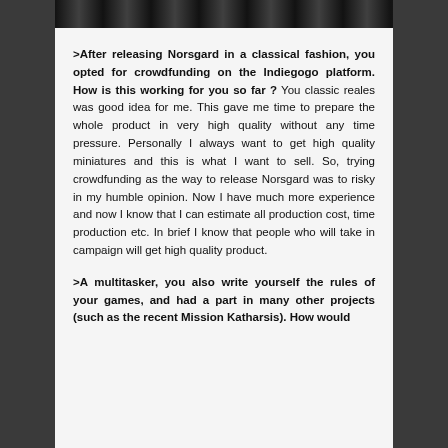[Figure (photo): Black and white photo strip at top of content area]
>After releasing Norsgard in a classical fashion, you opted for crowdfunding on the Indiegogo platform. How is this working for you so far ? You classic reales was good idea for me. This gave me time to prepare the whole product in very high quality without any time pressure. Personally I always want to get high quality miniatures and this is what I want to sell. So, trying crowdfunding as the way to release Norsgard was to risky in my humble opinion. Now I have much more experience and now I know that I can estimate all production cost, time production etc. In brief I know that people who will take in campaign will get high quality product.
>A multitasker, you also write yourself the rules of your games, and had a part in many other projects (such as the recent Mission Katharsis). How would